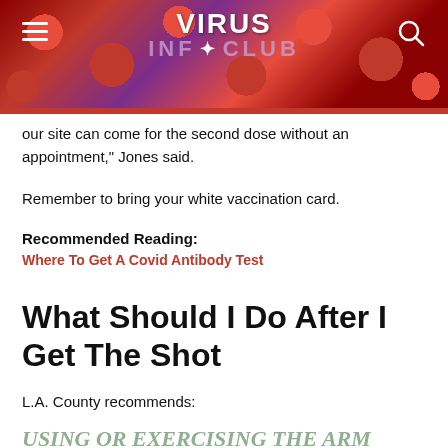[Figure (screenshot): Website header banner for 'Virus Info Club' with hamburger menu icon on left and search icon on right, set against a red and purple microscopic blood cell background image]
our site can come for the second dose without an appointment," Jones said.
Remember to bring your white vaccination card.
Recommended Reading:
Where To Get A Covid Antibody Test
What Should I Do After I Get The Shot
L.A. County recommends:
USING OR EXERCISING THE ARM THAT